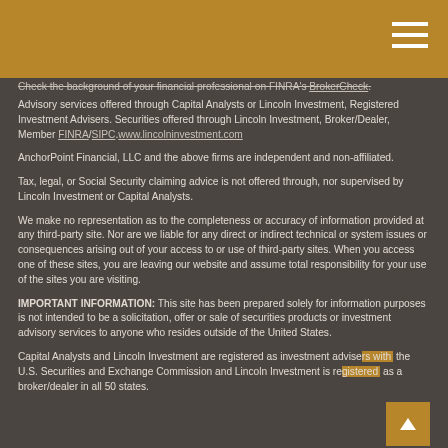Check the background of your financial professional on FINRA's BrokerCheck.
Advisory services offered through Capital Analysts or Lincoln Investment, Registered Investment Advisers. Securities offered through Lincoln Investment, Broker/Dealer, Member FINRA/SIPC.www.lincolninvestment.com
AnchorPoint Financial, LLC and the above firms are independent and non-affiliated.
Tax, legal, or Social Security claiming advice is not offered through, nor supervised by Lincoln Investment or Capital Analysts.
We make no representation as to the completeness or accuracy of information provided at any third-party site. Nor are we liable for any direct or indirect technical or system issues or consequences arising out of your access to or use of third-party sites. When you access one of these sites, you are leaving our website and assume total responsibility for your use of the sites you are visiting.
IMPORTANT INFORMATION: This site has been prepared solely for information purposes is not intended to be a solicitation, offer or sale of securities products or investment advisory services to anyone who resides outside of the United States.
Capital Analysts and Lincoln Investment are registered as investment advisers with the U.S. Securities and Exchange Commission and Lincoln Investment is registered as a broker/dealer in all 50 states.